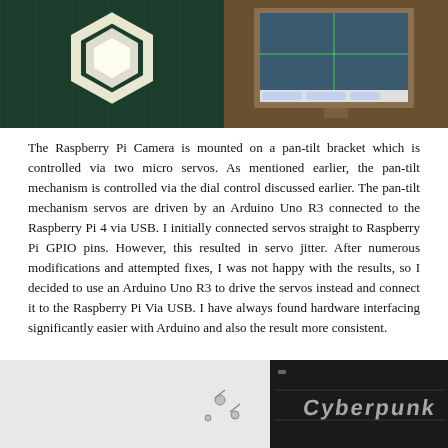[Figure (photo): Two photos side by side at top: left photo shows a hexagonal white light fixture on a dark green grid background (Raspberry Pi camera pan-tilt setup); right photo shows a monitor/screen on a wooden stand with browser tabs visible.]
The Raspberry Pi Camera is mounted on a pan-tilt bracket which is controlled via two micro servos. As mentioned earlier, the pan-tilt mechanism is controlled via the dial control discussed earlier. The pan-tilt mechanism servos are driven by an Arduino Uno R3 connected to the Raspberry Pi 4 via USB. I initially connected servos straight to Raspberry Pi GPIO pins. However, this resulted in servo jitter. After numerous modifications and attempted fixes, I was not happy with the results, so I decided to use an Arduino Uno R3 to drive the servos instead and connect it to the Raspberry Pi Via USB. I have always found hardware interfacing significantly easier with Arduino and also the result more consistent.
[Figure (photo): Bottom partial photo showing hardware components including what appears to be a dark enclosure with a Cyberpunk-style logo/text and some small components/screws to the left.]